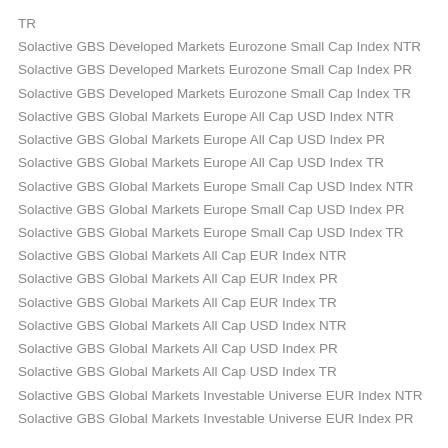TR
Solactive GBS Developed Markets Eurozone Small Cap Index NTR
Solactive GBS Developed Markets Eurozone Small Cap Index PR
Solactive GBS Developed Markets Eurozone Small Cap Index TR
Solactive GBS Global Markets Europe All Cap USD Index NTR
Solactive GBS Global Markets Europe All Cap USD Index PR
Solactive GBS Global Markets Europe All Cap USD Index TR
Solactive GBS Global Markets Europe Small Cap USD Index NTR
Solactive GBS Global Markets Europe Small Cap USD Index PR
Solactive GBS Global Markets Europe Small Cap USD Index TR
Solactive GBS Global Markets All Cap EUR Index NTR
Solactive GBS Global Markets All Cap EUR Index PR
Solactive GBS Global Markets All Cap EUR Index TR
Solactive GBS Global Markets All Cap USD Index NTR
Solactive GBS Global Markets All Cap USD Index PR
Solactive GBS Global Markets All Cap USD Index TR
Solactive GBS Global Markets Investable Universe EUR Index NTR
Solactive GBS Global Markets Investable Universe EUR Index PR